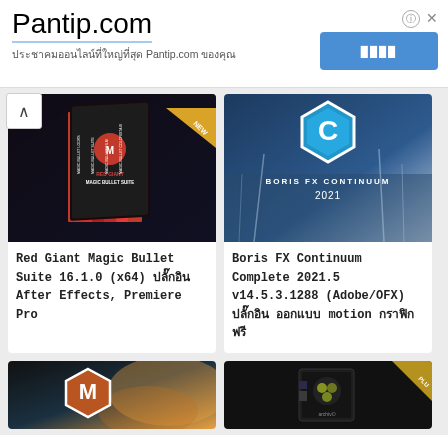Pantip.com
ประชาคมออนไลน์ที่ใหญ่ที่สุด Pantip.com ของคุณ
[Figure (screenshot): Red Giant Magic Bullet Suite product box art on dark background]
Red Giant Magic Bullet Suite 16.1.0 (x64) ปลั๊กอิน After Effects, Premiere Pro
[Figure (screenshot): Boris FX Continuum 2021 logo with C hexagon on winter forest background]
Boris FX Continuum Complete 2021.5 v14.5.3.1288 (Adobe/OFX) ปลั๊กอิน ออกแบบ motion กราฟิก ฟรี
[Figure (screenshot): Mudbox M hexagon logo on dark background]
[Figure (screenshot): Archiva product box on dark background with gold corner]